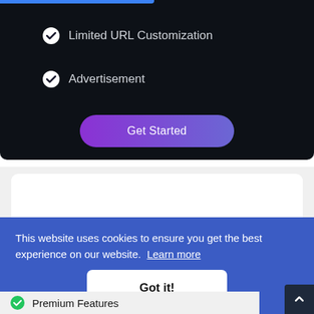Limited URL Customization
Advertisement
[Figure (other): Get Started button with purple gradient background]
This website uses cookies to ensure you get the best experience on our website.  Learn more
[Figure (other): Got it! button with white background]
Premium Features